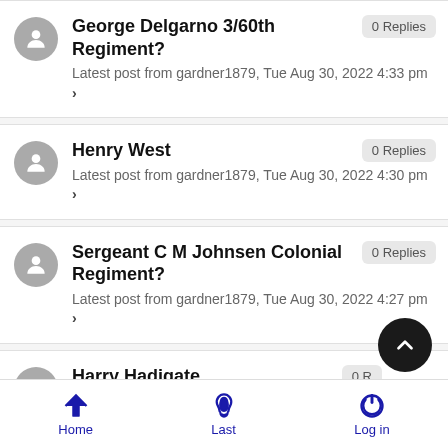George Delgarno 3/60th Regiment? — 0 Replies — Latest post from gardner1879, Tue Aug 30, 2022 4:33 pm
Henry West — 0 Replies — Latest post from gardner1879, Tue Aug 30, 2022 4:30 pm
Sergeant C M Johnsen Colonial Regiment? — 0 Replies — Latest post from gardner1879, Tue Aug 30, 2022 4:27 pm
Harry Hadigate — 0 Replies — Latest post from gardner1879, Tue Aug 30, 2022 4:04
Home  Last  Log in